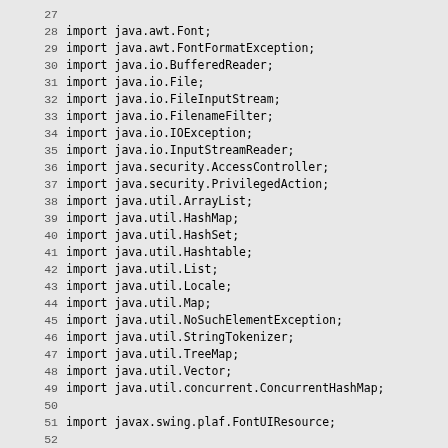27
28 import java.awt.Font;
29 import java.awt.FontFormatException;
30 import java.io.BufferedReader;
31 import java.io.File;
32 import java.io.FileInputStream;
33 import java.io.FilenameFilter;
34 import java.io.IOException;
35 import java.io.InputStreamReader;
36 import java.security.AccessController;
37 import java.security.PrivilegedAction;
38 import java.util.ArrayList;
39 import java.util.HashMap;
40 import java.util.HashSet;
41 import java.util.Hashtable;
42 import java.util.List;
43 import java.util.Locale;
44 import java.util.Map;
45 import java.util.NoSuchElementException;
46 import java.util.StringTokenizer;
47 import java.util.TreeMap;
48 import java.util.Vector;
49 import java.util.concurrent.ConcurrentHashMap;
50
51 import javax.swing.plaf.FontUIResource;
52
53 import sun.awt.FontConfiguration;
54 import sun.awt.SunToolkit;
55 import sun.awt.util.ThreadGroupUtils;
56 import sun.java2d.FontSupport;